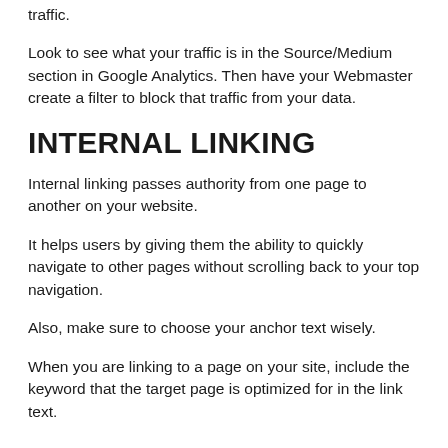traffic.
Look to see what your traffic is in the Source/Medium section in Google Analytics. Then have your Webmaster create a filter to block that traffic from your data.
INTERNAL LINKING
Internal linking passes authority from one page to another on your website.
It helps users by giving them the ability to quickly navigate to other pages without scrolling back to your top navigation.
Also, make sure to choose your anchor text wisely.
When you are linking to a page on your site, include the keyword that the target page is optimized for in the link text.